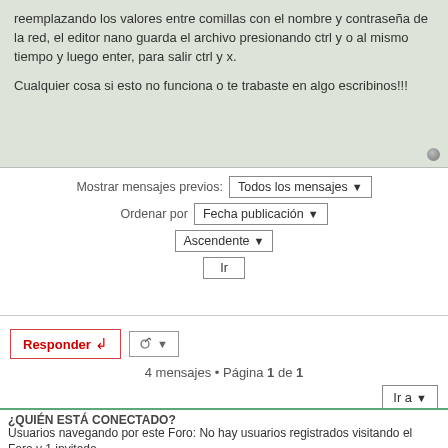reemplazando los valores entre comillas con el nombre y contraseña de la red, el editor nano guarda el archivo presionando ctrl y o al mismo tiempo y luego enter, para salir ctrl y x.

Cualquier cosa si esto no funciona o te trabaste en algo escribinos!!!
Mostrar mensajes previos: Todos los mensajes
Ordenar por Fecha publicación
Ascendente
Ir
Responder ↵   🔧 ▾
4 mensajes • Página 1 de 1
Ir a ▾
¿QUIÉN ESTÁ CONECTADO?
Usuarios navegando por este Foro: No hay usuarios registrados visitando el Foro y 1 invitado
Índice general   Contáctanos  El Equipo  ≡
Desarrollado por phpBB® Forum Software © phpBB Limited
Traducción al español por phpBB España
GZIP: Off